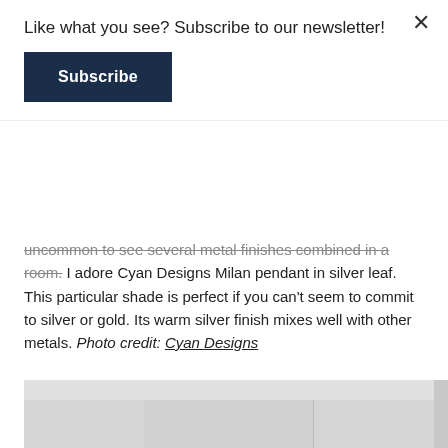Like what you see? Subscribe to our newsletter!
Subscribe
uncommon to see several metal finishes combined in a room. I adore Cyan Designs Milan pendant in silver leaf. This particular shade is perfect if you can't seem to commit to silver or gold. Its warm silver finish mixes well with other metals. Photo credit: Cyan Designs
[Figure (photo): Three glass globe pendant lights with brushed nickel hardware hanging over a kitchen island. White cabinets and a range hood visible in the background.]